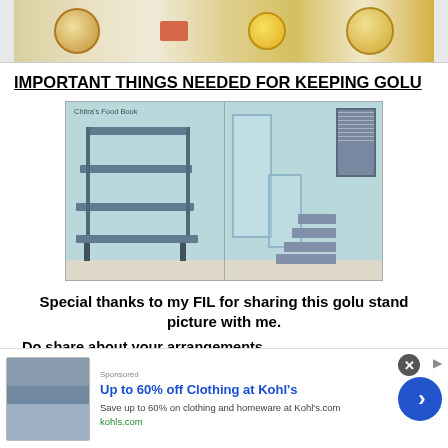[Figure (photo): Top cropped food/cooking image showing plates with food items and lemons on a table]
IMPORTANT THINGS NEEDED FOR KEEPING GOLU
[Figure (photo): Two golu/kolu stands side by side - a metal folding shelf unit on the left and glass/metal step stands on the right, watermark reads Chitra's Food Book]
Special thanks to my FIL for sharing this golu stand picture with me.
Do share about your arrangements (partially visible)
[Figure (screenshot): Advertisement banner: Up to 60% off Clothing at Kohl's - Save up to 60% on clothing and homeware at Kohl's.com - kohls.com]